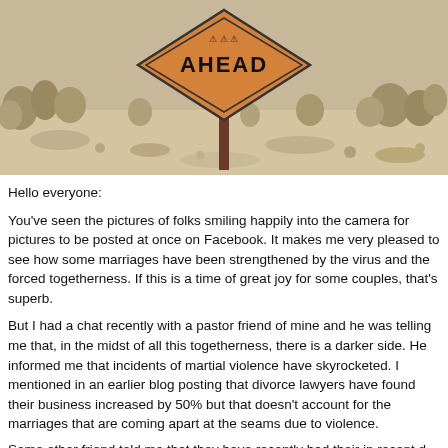[Figure (photo): Outdoor desert scene with a diamond-shaped orange warning road sign reading 'AHEAD' on a post, surrounded by desert shrubs and rocky terrain.]
Hello everyone:
You've seen the pictures of folks smiling happily into the camera for pictures to be posted at once on Facebook. It makes me very pleased to see how some marriages have been strengthened by the virus and the forced togetherness. If this is a time of great joy for some couples, that's superb.
But I had a chat recently with a pastor friend of mine and he was telling me that, in the midst of all this togetherness, there is a darker side. He informed me that incidents of martial violence have skyrocketed. I mentioned in an earlier blog posting that divorce lawyers have found their business increased by 50% but that doesn't account for the marriages that are coming apart at the seams due to violence.
Some other friend told me that they have recently had their in recent d...